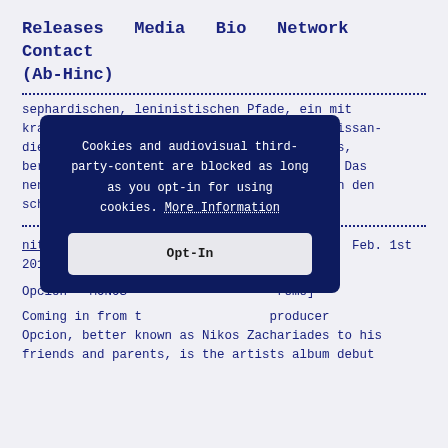Releases   Media   Bio   Network   Contact
(Ab-Hinc)
sephardischen, leninistischen Pfade, ein mit kratzigem Violinsound, der schleift und glissandiert zu impulsiver Erregung, Subwooverbass, berstenden Wooshes und hornissigem Gesumm. Das nenne ich eine ausnehmend düstere Absage an den schönen Schein. [BA 89 rbd]
nitestylez.de - ... Feb. 1st 2016
Opcion - MONOS ... [romo]
Coming in from t... producer Opcion, better known as Nikos Zachariades to his friends and parents, is the artists album debut
[Figure (screenshot): Cookie consent modal dialog with dark navy background. Text reads: 'Cookies and audiovisual third-party-content are blocked as long as you opt-in for using cookies. More Information' with an Opt-In button.]